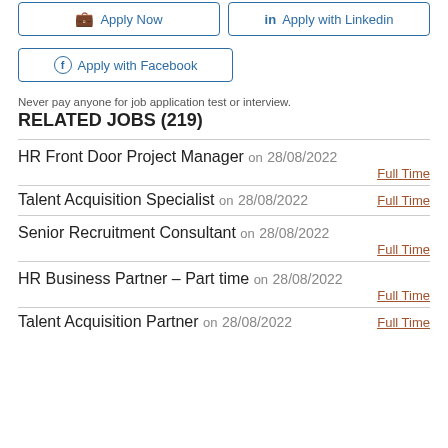Apply Now
Apply with Linkedin
Apply with Facebook
Never pay anyone for job application test or interview.
RELATED JOBS (219)
HR Front Door Project Manager on 28/08/2022 Full Time
Talent Acquisition Specialist on 28/08/2022 Full Time
Senior Recruitment Consultant on 28/08/2022 Full Time
HR Business Partner – Part time on 28/08/2022 Full Time
Talent Acquisition Partner on 28/08/2022 Full Time